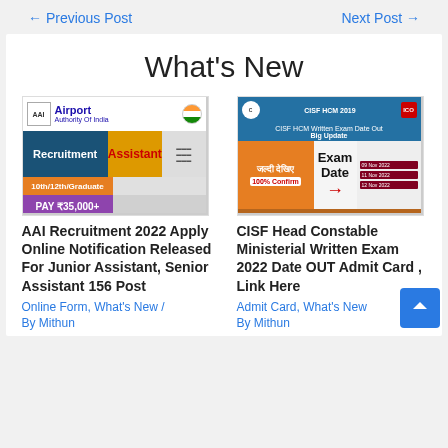← Previous Post    Next Post →
What's New
[Figure (illustration): Airport Authority of India Recruitment thumbnail showing AAI logo, 'Airport Authority Of India', Recruitment Assistant text, 10th/12th/Graduate, PAY ₹35,000+]
AAI Recruitment 2022 Apply Online Notification Released For Junior Assistant, Senior Assistant 156 Post
Online Form, What's New / By Mithun
[Figure (illustration): CISF HCM 2019 thumbnail showing CISF HCM Written Exam Date Out Big Update, Exam Date, 100% Confirm, arrow pointing to dates]
CISF Head Constable Ministerial Written Exam 2022 Date OUT Admit Card , Link Here
Admit Card, What's New
By Mithun